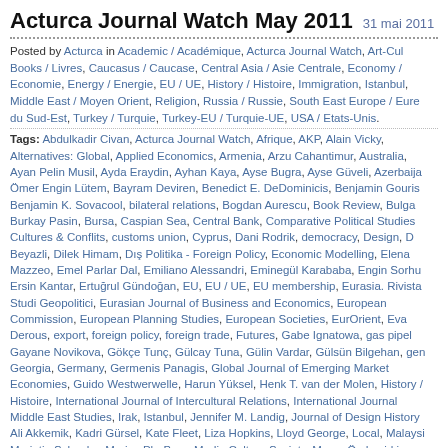Acturca Journal Watch May 2011   31 mai 2011
Posted by Acturca in Academic / Académique, Acturca Journal Watch, Art-Culture / Art-Culture, Books / Livres, Caucasus / Caucase, Central Asia / Asie Centrale, Economy / Economie, Energy / Energie, EU / UE, History / Histoire, Immigration, Istanbul, Middle East / Moyen Orient, Religion, Russia / Russie, South East Europe / Europe du Sud-Est, Turkey / Turquie, Turkey-EU / Turquie-UE, USA / Etats-Unis.
Tags: Abdulkadir Civan, Acturca Journal Watch, Afrique, AKP, Alain Vicky, Alternatives: Global, Applied Economics, Armenia, Arzu Cahantimur, Australia, Ayan Pelin Musil, Ayda Eraydin, Ayhan Kaya, Ayse Bugra, Ayse Güveli, Azerbaijan, Ömer Engin Lütem, Bayram Deviren, Benedict E. DeDominicis, Benjamin Gouris, Benjamin K. Sovacool, bilateral relations, Bogdan Aurescu, Book Review, Bulgaria, Burkay Pasin, Bursa, Caspian Sea, Central Bank, Comparative Political Studies, Cultures & Conflits, customs union, Cyprus, Dani Rodrik, democracy, Design, Deniz Beyazli, Dilek Himam, Dış Politika - Foreign Policy, Economic Modelling, Elena Mazzeo, Emel Parlar Dal, Emiliano Alessandri, Eminegül Karababa, Engin Sorhu, Ersin Kantar, Ertuğrul Gündoğan, EU, EU / UE, EU membership, Eurasia. Rivista di Studi Geopolitici, Eurasian Journal of Business and Economics, European Commission, European Planning Studies, European Societies, EurOrient, Eva Derous, export, foreign policy, foreign trade, Futures, Gabe Ignatowa, gas pipeline, Gayane Novikova, Gökçe Tunç, Gülcay Tuna, Gülin Vardar, Gülsün Bilgehan, gender, Georgia, Germany, Germenis Panagis, Global Journal of Emerging Market Economies, Guido Westwerwelle, Harun Yüksel, Henk T. van der Molen, History / Histoire, International Journal of Intercultural Relations, International Journal of Middle East Studies, Irak, Istanbul, Jennifer M. Landig, Journal of Design History, Ali Akkemik, Kadri Gürsel, Kate Fleet, Liza Hopkins, Lloyd George, Local, Malaysia, Marietje Schaake, Marise Ph. Born, Media Culture Society, Merve Özdemirkiran, Mexico, Michael Provence, Michalis N. Michael, Middle East, Middle Eastern Studies